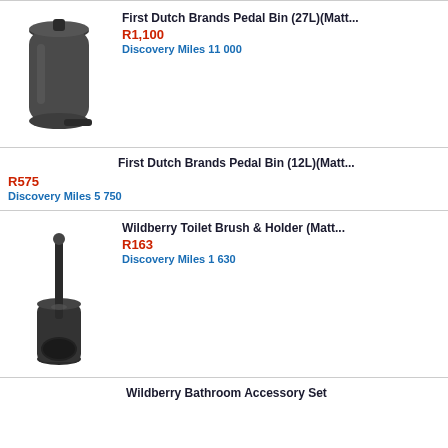[Figure (photo): Dark grey/matte black pedal bin, cylindrical shape with pedal at base]
First Dutch Brands Pedal Bin (27L)(Matt...
R1,100
Discovery Miles 11 000
First Dutch Brands Pedal Bin (12L)(Matt...
R575
Discovery Miles 5 750
[Figure (photo): Matte black toilet brush and holder set]
Wildberry Toilet Brush & Holder (Matt...
R163
Discovery Miles 1 630
Wildberry Bathroom Accessory Set